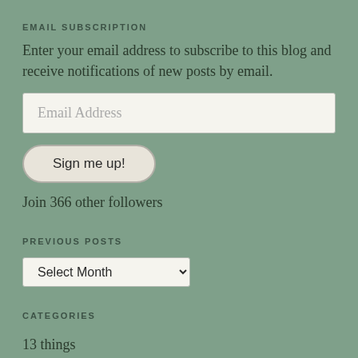EMAIL SUBSCRIPTION
Enter your email address to subscribe to this blog and receive notifications of new posts by email.
Email Address
Sign me up!
Join 366 other followers
PREVIOUS POSTS
Select Month
CATEGORIES
13 things
4th of July